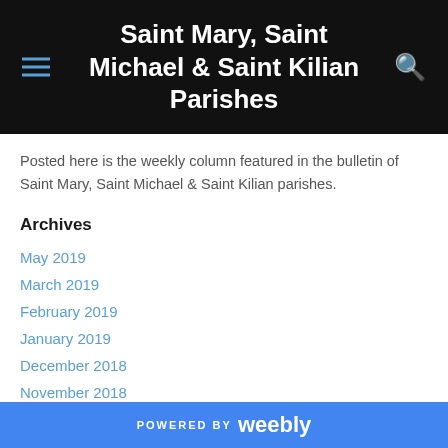Saint Mary, Saint Michael & Saint Kilian Parishes
Posted here is the weekly column featured in the bulletin of Saint Mary, Saint Michael & Saint Kilian parishes.
Archives
May 2019
March 2019
February 2019
January 2019
December 2018
November 2018
October 2018
POWERED BY weebly